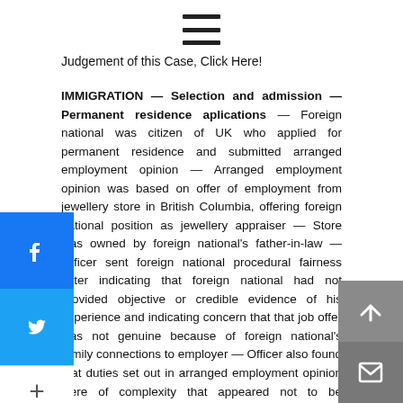[Figure (other): Hamburger menu icon (three horizontal lines) centered at top of page]
Judgement of this Case, Click Here!
IMMIGRATION — Selection and admission — Permanent residence applications — Foreign national was citizen of UK who applied for permanent residence and submitted arranged employment opinion — Arranged employment opinion was based on offer of employment from jewellery store in British Columbia, offering foreign national position as jewellery appraiser — Store was owned by foreign national's father-in-law — Officer sent foreign national procedural fairness letter indicating that foreign national had not provided objective or credible evidence of his experience and indicating concern that that job offer was not genuine because of foreign national's family connections to employer — Officer also found that duties set out in arranged employment opinion were of complexity that appeared not to be commensurate with foreign national's education and experience — Officer assigned zero points to arranged employment category and zero points to experience category